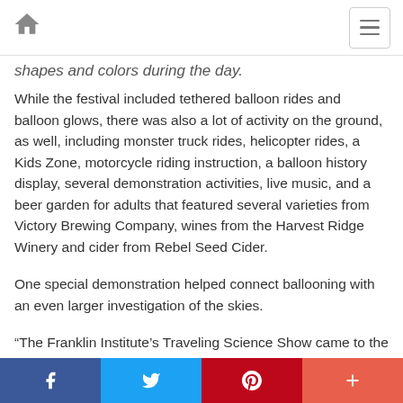[home icon] [menu icon]
shapes and colors during the day.
While the festival included tethered balloon rides and balloon glows, there was also a lot of activity on the ground, as well, including monster truck rides, helicopter rides, a Kids Zone, motorcycle riding instruction, a balloon history display, several demonstration activities, live music, and a beer garden for adults that featured several varieties from Victory Brewing Company, wines from the Harvest Ridge Winery and cider from Rebel Seed Cider.
One special demonstration helped connect ballooning with an even larger investigation of the skies.
“The Franklin Institute’s Traveling Science Show came to the festival to conduct presentations on the science
[Facebook] [Twitter] [Pinterest] [Plus]